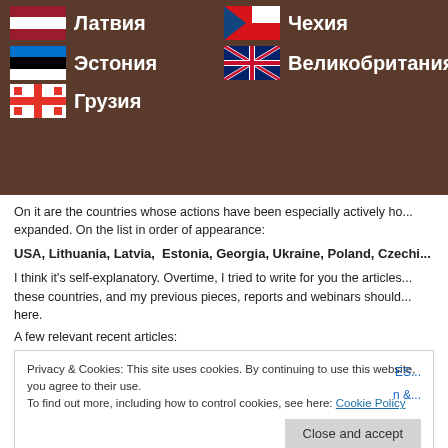[Figure (photo): Image showing flags of various countries (Latvia, Estonia, Georgia, UK/Great Britain, Czechia) with Cyrillic text labels: Латвия, Эстония, Великобритания, Грузия, Чехия]
On it are the countries whose actions have been especially actively ho... expanded. On the list in order of appearance:
USA, Lithuania, Latvia, Estonia, Georgia, Ukraine, Poland, Czechi...
I think it's self-explanatory. Overtime, I tried to write for you the articles... these countries, and my previous pieces, reports and webinars should... here.
A few relevant recent articles:
Privacy & Cookies: This site uses cookies. By continuing to use this website, you agree to their use. To find out more, including how to control cookies, see here: Cookie Policy